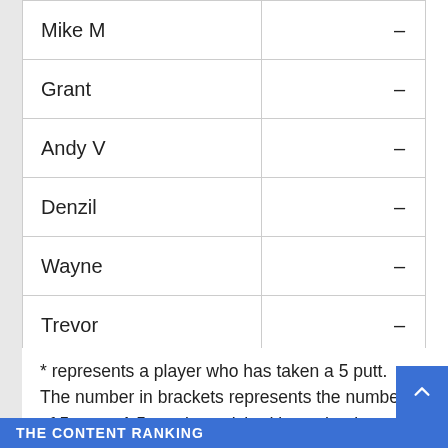| Name |  |
| --- | --- |
| Mike M | – |
| Grant | – |
| Andy V | – |
| Denzil | – |
| Wayne | – |
| Trevor | – |
* represents a player who has taken a 5 putt. The number in brackets represents the number of 5 putts. A 5 putt is punished by a chunky Charley.